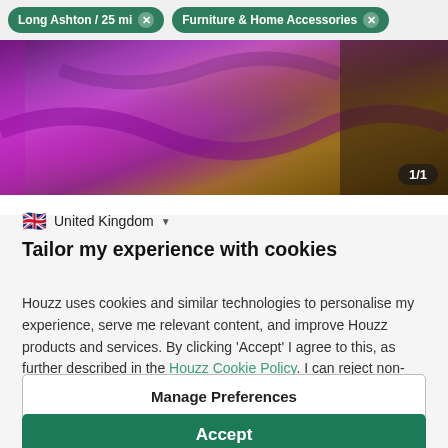Long Ashton / 25 mi   Furniture & Home Accessories
[Figure (photo): Purple/magenta ornate cushions or fabric on a sofa with gold framed mirror in background. Photo counter badge showing 1/1.]
United Kingdom
Tailor my experience with cookies
Houzz uses cookies and similar technologies to personalise my experience, serve me relevant content, and improve Houzz products and services. By clicking 'Accept' I agree to this, as further described in the Houzz Cookie Policy. I can reject non-
Manage Preferences
Accept